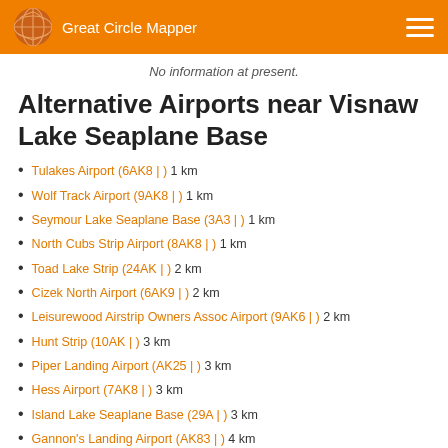Great Circle Mapper
No information at present.
Alternative Airports near Visnaw Lake Seaplane Base
Tulakes Airport (6AK8 | ) 1 km
Wolf Track Airport (9AK8 | ) 1 km
Seymour Lake Seaplane Base (3A3 | ) 1 km
North Cubs Strip Airport (8AK8 | ) 1 km
Toad Lake Strip (24AK | ) 2 km
Cizek North Airport (6AK9 | ) 2 km
Leisurewood Airstrip Owners Assoc Airport (9AK6 | ) 2 km
Hunt Strip (10AK | ) 3 km
Piper Landing Airport (AK25 | ) 3 km
Hess Airport (7AK8 | ) 3 km
Island Lake Seaplane Base (29A | ) 3 km
Gannon's Landing Airport (AK83 | ) 4 km
Valley Flying Crown Airport (AK27 | ) 4 km
Blodget Lake Seaplane Base (D75 | ) 5 km
Gus Landing (AA33 | ) 5 km